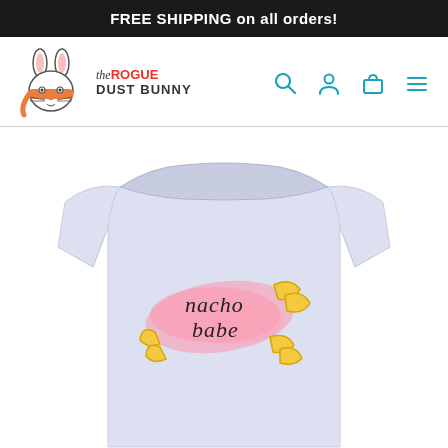FREE SHIPPING on all orders!
[Figure (logo): The Rogue Dust Bunny logo — cartoon bunny with orange mask and brand name text]
[Figure (photo): Light grey/lavender unisex t-shirt with 'nacho babe' text graphic on a pink watercolor splash with yellow nacho chip illustrations]